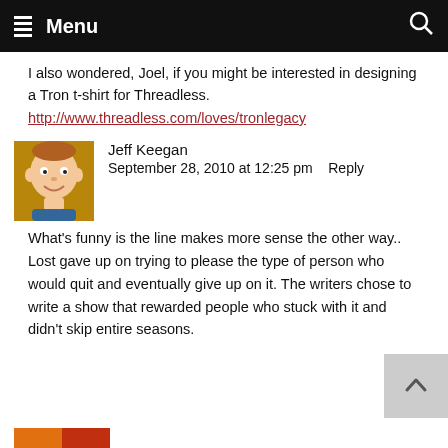Menu
I also wondered, Joel, if you might be interested in designing a Tron t-shirt for Threadless. http://www.threadless.com/loves/tronlegacy
Jeff Keegan
September 28, 2010 at 12:25 pm   Reply
What's funny is the line makes more sense the other way.. Lost gave up on trying to please the type of person who would quit and eventually give up on it. The writers chose to write a show that rewarded people who stuck with it and didn't skip entire seasons.